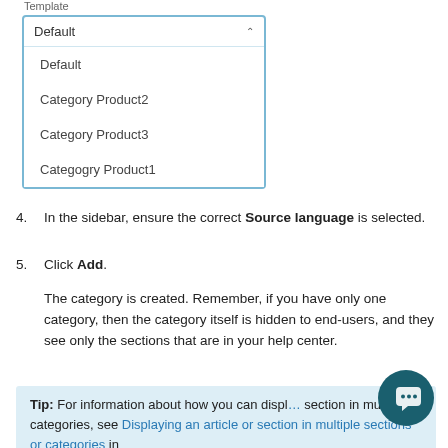[Figure (screenshot): Dropdown menu showing template options: Default (selected), Category Product2, Category Product3, Categogry Product1]
4. In the sidebar, ensure the correct Source language is selected.
5. Click Add.
The category is created. Remember, if you have only one category, then the category itself is hidden to end-users, and they see only the sections that are in your help center.
Tip: For information about how you can display a section in multiple categories, see Displaying an article or section in multiple sections or categories in